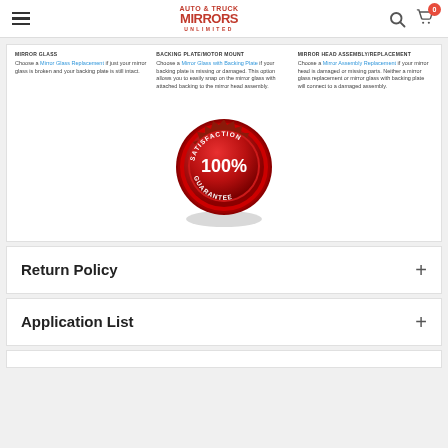Auto & Truck Mirrors Unlimited
MIRROR GLASS - Choose a Mirror Glass Replacement if just your mirror glass is broken and your backing plate is still intact.
BACKING PLATE/MOTOR MOUNT - Choose a Mirror Glass with Backing Plate if your backing plate is missing or damaged. This option allows you to easily snap on the mirror glass with attached backing to the mirror head assembly.
MIRROR HEAD ASSEMBLY/REPLACEMENT - Choose a Mirror Assembly Replacement if your mirror head is damaged or missing parts. Neither a mirror glass replacement or mirror glass with backing plate will connect to a damaged assembly.
[Figure (illustration): Red circular satisfaction guarantee badge/seal with '100%' text in white and 'SATISFACTION GUARANTEE' text around the border]
Return Policy
Application List